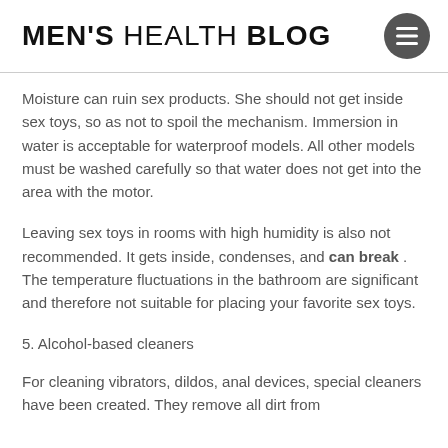MEN'S HEALTH BLOG
Moisture can ruin sex products. She should not get inside sex toys, so as not to spoil the mechanism. Immersion in water is acceptable for waterproof models. All other models must be washed carefully so that water does not get into the area with the motor.
Leaving sex toys in rooms with high humidity is also not recommended. It gets inside, condenses, and can break . The temperature fluctuations in the bathroom are significant and therefore not suitable for placing your favorite sex toys.
5. Alcohol-based cleaners
For cleaning vibrators, dildos, anal devices, special cleaners have been created. They remove all dirt from